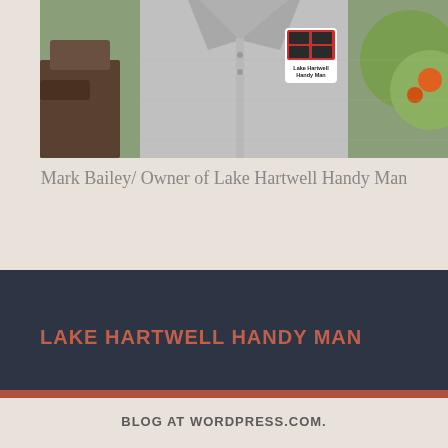[Figure (photo): Photo of a man wearing a grey polo shirt with a 'Lake Hartwell Handy Man' logo patch on the chest, standing outdoors with trees/wood in the background.]
Mark Bailey/ Owner of Lake Hartwell Handy Man
LAKE HARTWELL HANDY MAN
BLOG AT WORDPRESS.COM.